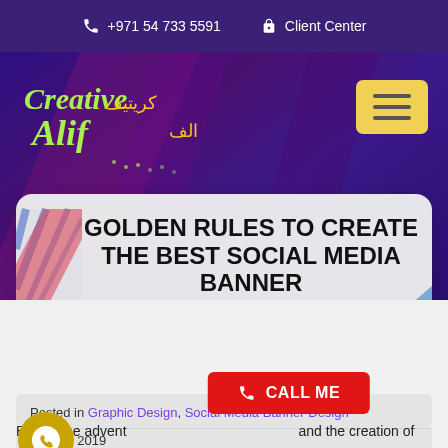+971 54 733 5591   Client Center
[Figure (logo): Creative Alif logo in green calligraphic English and yellow Arabic text on purple hero background with diagonal stripe decorations and yellow hamburger menu button]
GOLDEN RULES TO CREATE THE BEST SOCIAL MEDIA BANNER
Posted in Graphic Design, Social Media Banner Design
March 30, 2019
[Figure (illustration): Gold circular WhatsApp chat button]
[Figure (other): Red CALL ME button with phone icon]
Before the advent ... and the creation of